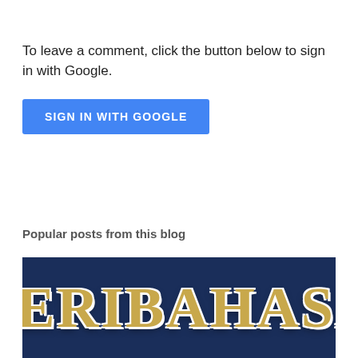To leave a comment, click the button below to sign in with Google.
[Figure (screenshot): Blue button labeled SIGN IN WITH GOOGLE]
Popular posts from this blog
[Figure (photo): Image showing the word PERIBAHASA in large gold letters on a dark blue background]